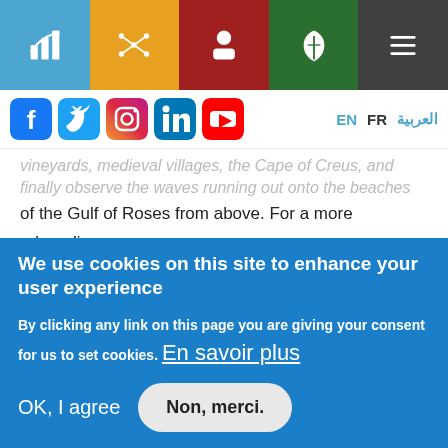[Figure (screenshot): Website navigation bar with 5 colored sections: blue with chart icon, orange with star/network icon, red with person icon, green with leaf/shield icon, dark gray with hamburger menu icon]
[Figure (screenshot): Social media icons row (Facebook, Twitter, Instagram, LinkedIn, YouTube) on left; language selector EN, FR, العربية on right]
vineyards, medieval villages, the Cape of Creus, and finally observe the waves running out onto the beaches of the Gulf of Roses from above. For a more adrenalin-provoking option of in-air activity, skydives operated from the Empuriabrava Aerodrome might be your choice for a unique shot of emotion during your vacation. Dare you
We use cookies on this site to enhance your user experience

By clicking any link on this page you are giving your consent for us to set cookies. En savoir plus

OK, I agree   Non, merci.